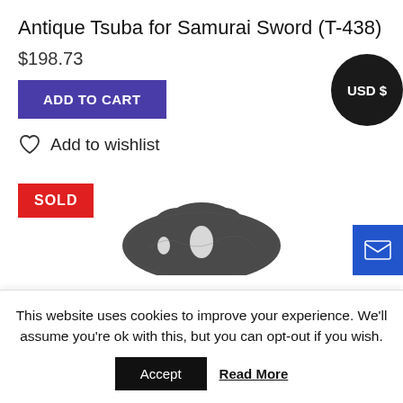Antique Tsuba for Samurai Sword (T-438)
$198.73
ADD TO CART
Add to wishlist
USD $
SOLD
[Figure (photo): Antique Tsuba (Japanese sword guard) artifact, dark metal, irregular round shape partially visible at bottom of page]
This website uses cookies to improve your experience. We'll assume you're ok with this, but you can opt-out if you wish.
Accept
Read More